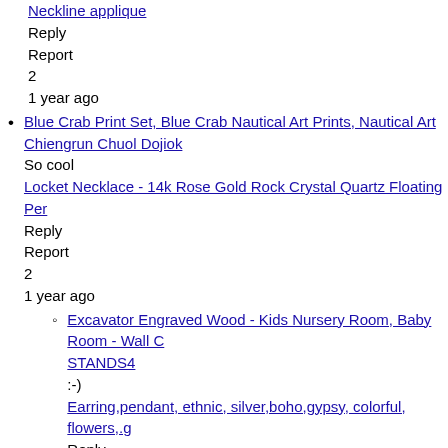Neckline applique
Reply
Report
2
1 year ago
Blue Crab Print Set, Blue Crab Nautical Art Prints, Nautical Art
Chiengrun Chuol Dojiok
So cool
Locket Necklace - 14k Rose Gold Rock Crystal Quartz Floating Per
Reply
Report
2
1 year ago
Excavator Engraved Wood - Kids Nursery Room, Baby Room - Wall C
STANDS4
:-)
Earring,pendant, ethnic, silver,boho,gypsy, colorful, flowers,.g
Reply
Report
1 year ago
Mondrian Cufflinks - for men - art cufflinks - geometric cuffli...